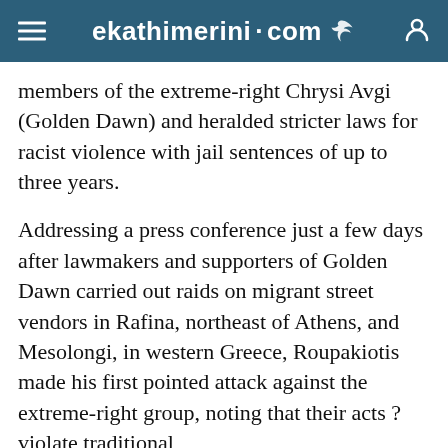ekathimerini.com
members of the extreme-right Chrysi Avgi (Golden Dawn) and heralded stricter laws for racist violence with jail sentences of up to three years.
Addressing a press conference just a few days after lawmakers and supporters of Golden Dawn carried out raids on migrant street vendors in Rafina, northeast of Athens, and Mesolongi, in western Greece, Roupakiotis made his first pointed attack against the extreme-right group, noting that their acts ?violate traditional